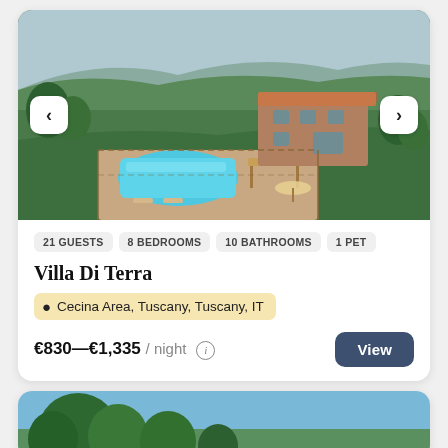[Figure (photo): Aerial view of Villa Di Terra in Tuscany showing stone farmhouse building, large swimming pool surrounded by terrace, rolling green hills and mountains in background]
21 GUESTS  8 BEDROOMS  10 BATHROOMS  1 PET
Villa Di Terra
Cecina Area, Tuscany, Tuscany, IT
€830—€1,335 / night ⓘ
View
[Figure (photo): Partial view of another property listing showing trees against blue sky]